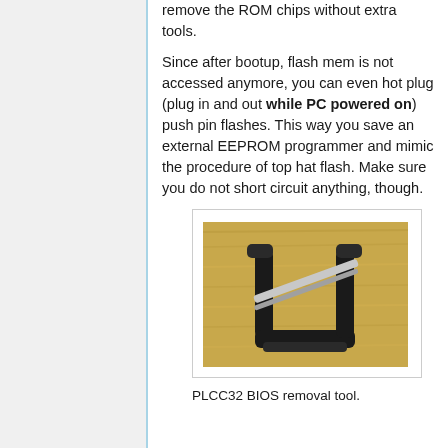remove the ROM chips without extra tools.
Since after bootup, flash mem is not accessed anymore, you can even hot plug (plug in and out while PC powered on) push pin flashes. This way you save an external EEPROM programmer and mimic the procedure of top hat flash. Make sure you do not short circuit anything, though.
[Figure (photo): A PLCC32 BIOS removal tool (extractor) lying on a wooden surface. The tool is black plastic with a C-shape and metal pins.]
PLCC32 BIOS removal tool.